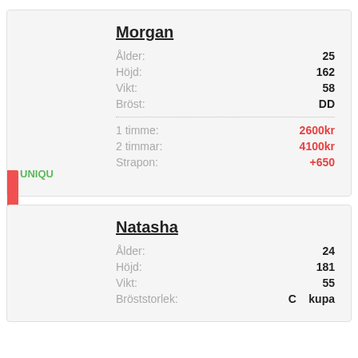Morgan
| Ålder: | 25 |
| Höjd: | 162 |
| Vikt: | 58 |
| Bröst: | DD |
| 1 timme: | 2600kr |
| 2 timmar: | 4100kr |
| Strapon: | +650 |
UNIQU
Natasha
| Ålder: | 24 |
| Höjd: | 181 |
| Vikt: | 55 |
| Bröststorlek: | C kupa |